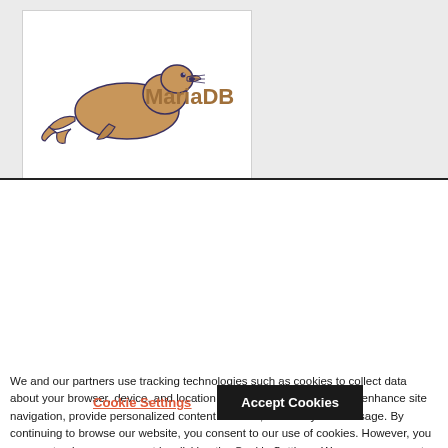[Figure (logo): MariaDB logo featuring a sea lion/seal illustration in brown/tan and dark outline, with the text 'MariaDB' in brown color to the right of the animal]
We and our partners use tracking technologies such as cookies to collect data about your browser, device, and location to make our websites work, enhance site navigation, provide personalized content and ads, and analyze site usage. By continuing to browse our website, you consent to our use of cookies. However, you may customize your consent by clicking the Cookie Settings. We encourage you to read our Privacy Policy and Cookie Policy to better understand our use of data.
Cookie Settings
Accept Cookies